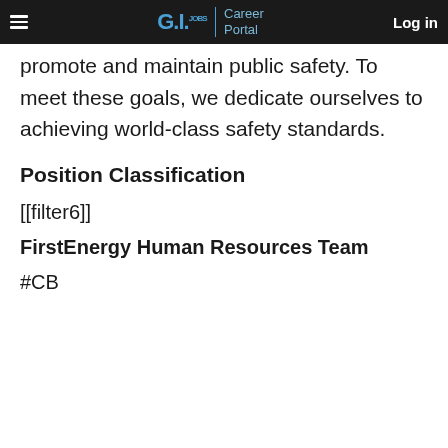G.I. Jobs | Career Portal  Log in
promote and maintain public safety. To meet these goals, we dedicate ourselves to achieving world-class safety standards.
Position Classification
[[filter6]]
FirstEnergy Human Resources Team
#CB